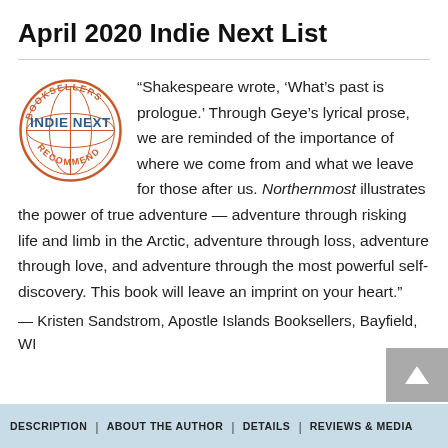April 2020 Indie Next List
[Figure (logo): Indie Next Booksellers Recommend circular badge logo with crosshair/globe design and text 'BOOKSELLERS', 'INDIE NEXT', 'RECOMMEND']
“Shakespeare wrote, ‘What’s past is prologue.’ Through Geye’s lyrical prose, we are reminded of the importance of where we come from and what we leave for those after us. Northernmost illustrates the power of true adventure — adventure through risking life and limb in the Arctic, adventure through loss, adventure through love, and adventure through the most powerful self-discovery. This book will leave an imprint on your heart.”
— Kristen Sandstrom, Apostle Islands Booksellers, Bayfield, WI
DESCRIPTION | ABOUT THE AUTHOR | DETAILS | REVIEWS & MEDIA